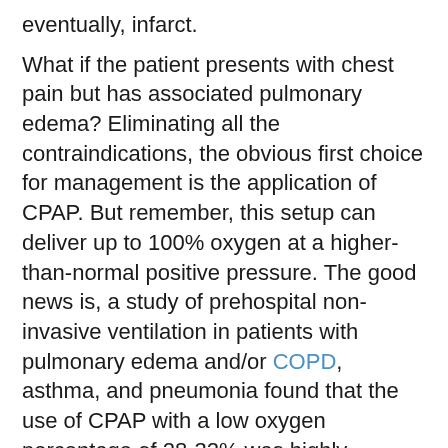eventually, infarct.
What if the patient presents with chest pain but has associated pulmonary edema? Eliminating all the contraindications, the obvious first choice for management is the application of CPAP. But remember, this setup can deliver up to 100% oxygen at a higher-than-normal positive pressure. The good news is, a study of prehospital non-invasive ventilation in patients with pulmonary edema and/or COPD, asthma, and pneumonia found that the use of CPAP with a low oxygen percentage of 28-32% was highly effective in the treatment of respiratory emergencies by medics [6,12]. Thus, the patient may receive the benefit of CPAP, but not develop the hyperoxia consequences!
AHA GUIDELINES FOR CARDIAC CARE AND CPR
EMS professionals who are scared to withhold high-flow oxygen, believing that doing so may compromise cardiac...